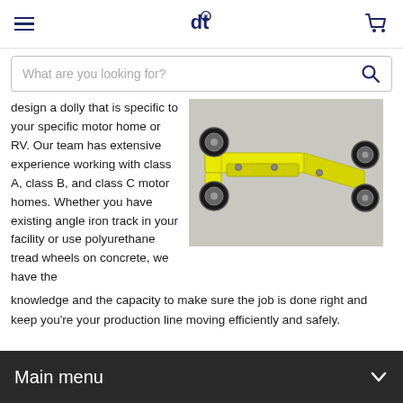[hamburger menu] [logo] [cart icon]
What are you looking for?
design a dolly that is specific to your specific motor home or RV. Our team has extensive experience working with class A, class B, and class C motor homes. Whether you have existing angle iron track in your facility or use polyurethane tread wheels on concrete, we have the knowledge and the capacity to make sure the job is done right and keep you're your production line moving efficiently and safely.
[Figure (photo): Yellow industrial dolly/trolley with metal wheels on concrete floor, viewed from above at an angle]
Main menu